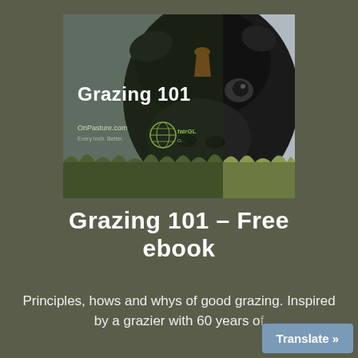[Figure (illustration): Book cover of 'Grazing 101' ebook showing a close-up of a black cow grazing with an orange ear tag, overlaid with book cover text 'Grazing 101', OnPasture.com and a globe logo]
Grazing 101 – Free ebook
Principles, hows and whys of good grazing. Inspired by a grazier with 60 years of experience. Plus a digest...